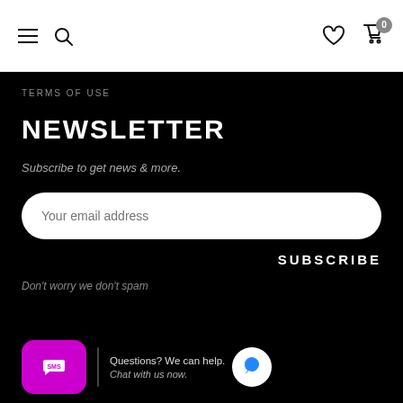Navigation bar with hamburger menu, search, heart/wishlist, and cart (0) icons
TERMS OF USE
NEWSLETTER
Subscribe to get news & more.
Your email address
SUBSCRIBE
Don't worry we don't spam
Questions? We can help. Chat with us now.